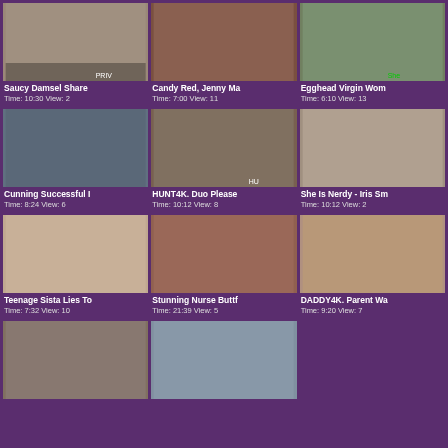[Figure (screenshot): Video thumbnail grid of adult content website showing 11 video thumbnails in a 3-column layout with titles and view counts]
Saucy Damsel Share
Time: 10:30 View: 2
Candy Red, Jenny Ma
Time: 7:00 View: 11
Egghead Virgin Wom
Time: 6:10 View: 13
Cunning Successful I
Time: 8:24 View: 6
HUNT4K. Duo Please
Time: 10:12 View: 8
She Is Nerdy - Iris Sm
Time: 10:12 View: 2
Teenage Sista Lies To
Time: 7:32 View: 10
Stunning Nurse Buttf
Time: 21:39 View: 5
DADDY4K. Parent Wa
Time: 9:20 View: 7